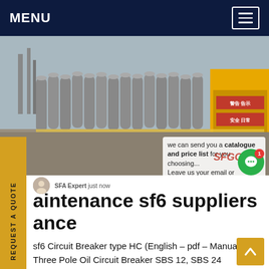MENU
[Figure (photo): Industrial gas cylinders (SF6) lined up outdoors with a yellow truck visible in the background; partially overlaid with a chat/support popup and SFGChina watermark]
REQUEST A QUOTE
we can send you a catalogue and price list for you choosing... Leave us your email or whatsapp.
SFA Expert  just now
maintenance sf6 suppliers France
sf6 Circuit Breaker type HC (English – pdf – Manual) Three Pole Oil Circuit Breaker SBS 12, SBS 24 (English – pdf – Manual) Installation and Maintenance VHK Model 20/21 VHKR Model 80 (English – pdf – Manual)Get price